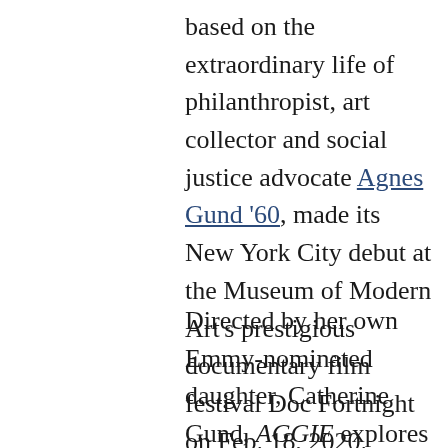based on the extraordinary life of philanthropist, art collector and social justice advocate Agnes Gund '60, made its New York City debut at the Museum of Modern Art's prestigious documentary film festival Doc Fortnight on Feb. 18, 2020.
Directed by her own Emmy-nominated daughter, Catherine Gund, AGGIE explores the power of art to transform consciousness and inspire social change. The film opens with Gund selling Roy Lichtenstein's "Masterpiece" for...